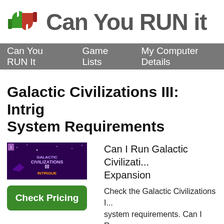Can You RUN it
Can You RUN It   Game Lists   My Computer Details
Galactic Civilizations III: Intrigue System Requirements
[Figure (logo): Galactic Civilizations III Intrigue game cover image]
Check Pricing
Can I Run Galactic Civilizations III: Intrigue Expansion
Check the Galactic Civilizations III: Intrigue Expansion system requirements. Can I Run it? Test my PC and rate your gaming PC. System requirements Lab runs millions of PC requirements tests on over 6,000 games a month.